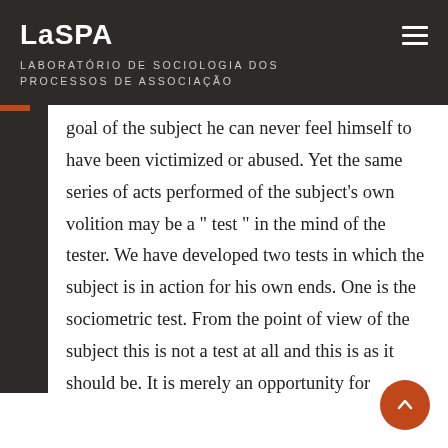LaSPA
LABORATÓRIO DE SOCIOLOGIA DOS PROCESSOS DE ASSOCIAÇÃO
goal of the subject he can never feel himself to have been victimized or abused. Yet the same series of acts performed of the subject's own volition may be a " test " in the mind of the tester. We have developed two tests in which the subject is in action for his own ends. One is the sociometric test. From the point of view of the subject this is not a test at all and this is as it should be. It is merely an opportunity for